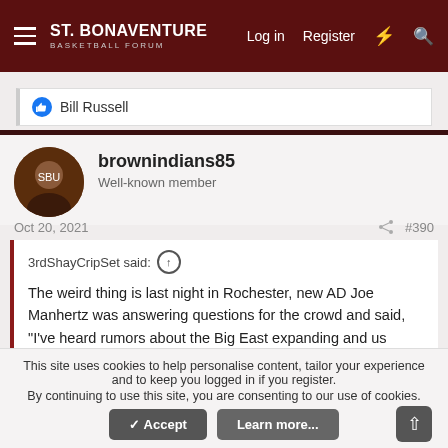St. Bonaventure Basketball Forum — Log in | Register
Bill Russell
brownindians85
Well-known member
Oct 20, 2021   #390
3rdShayCripSet said:
The weird thing is last night in Rochester, new AD Joe Manhertz was answering questions for the crowd and said, "I've heard rumors about the Big East expanding and us being a part of that, but I'm not going to address that."
This site uses cookies to help personalise content, tailor your experience and to keep you logged in if you register.
By continuing to use this site, you are consenting to our use of cookies.